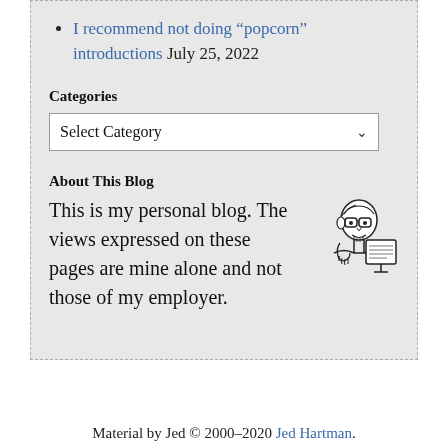I recommend not doing “popcorn” introductions July 25, 2022
Categories
Select Category
About This Blog
This is my personal blog. The views expressed on these pages are mine alone and not those of my employer.
[Figure (illustration): Line drawing illustration of a person with glasses looking at a computer screen, hand on chin in a thinking pose]
Material by Jed © 2000–2020 Jed Hartman.